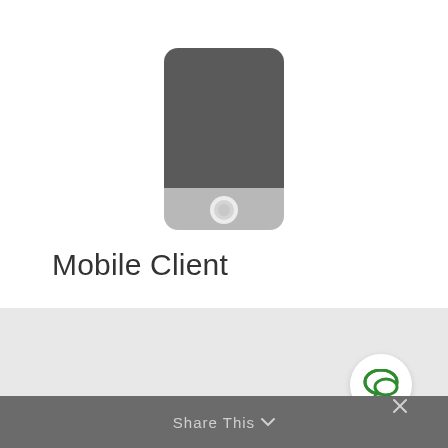[Figure (illustration): Flat icon of a mobile phone/smartphone with dark gray body and rounded corners, with a lighter gray bottom section containing a white home button circle]
Mobile Client
Universal mobile application designed to remotely access NVR, CMS or camera for video playback and management.
[Figure (illustration): Green speech bubble / chat icon inside a white circular button]
Share This ∨  ×